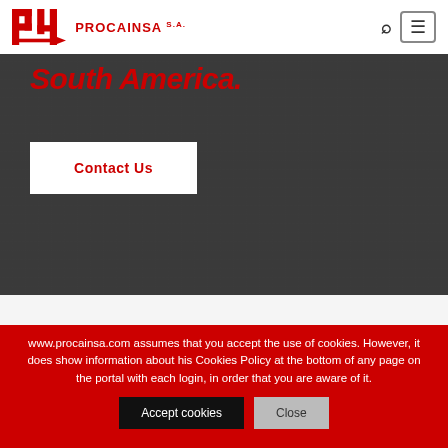[Figure (logo): PROCAINSA S.A. company logo with red P4 symbol]
South America.
Contact Us
www.procainsa.com assumes that you accept the use of cookies. However, it does show information about his Cookies Policy at the bottom of any page on the portal with each login, in order that you are aware of it.